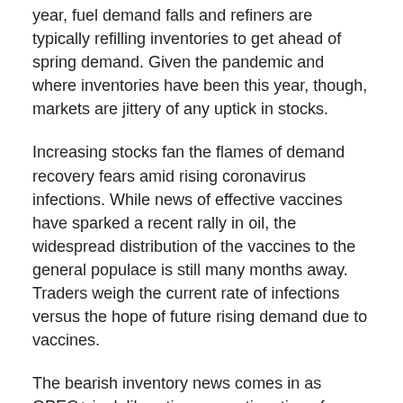year, fuel demand falls and refiners are typically refilling inventories to get ahead of spring demand. Given the pandemic and where inventories have been this year, though, markets are jittery of any uptick in stocks.
Increasing stocks fan the flames of demand recovery fears amid rising coronavirus infections. While news of effective vaccines have sparked a recent rally in oil, the widespread distribution of the vaccines to the general populace is still many months away. Traders weigh the current rate of infections versus the hope of future rising demand due to vaccines.
The bearish inventory news comes in as OPEC+ is deliberating on continuation of current supply cuts of 7.7 MMbpd into next year. The UAE has voiced some dissatisfaction with rolling over current supply cuts into January. The Saudi's have argued that current supply